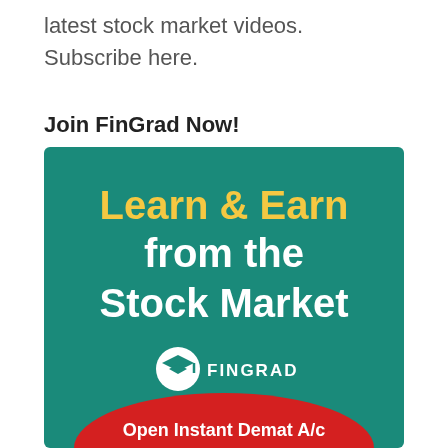latest stock market videos. Subscribe here.
Join FinGrad Now!
[Figure (illustration): FinGrad advertisement banner with teal background. Large text reads 'Learn & Earn from the Stock Market' with 'Learn & Earn' in yellow and the rest in white bold. FinGrad logo with graduation cap icon and 'FINGRAD' text in white. Red semicircle at bottom with 'Open Instant Demat A/c' text in white.]